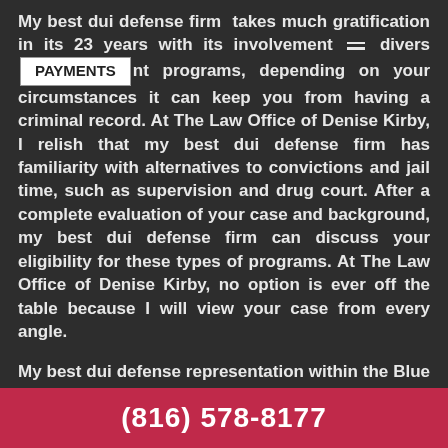My best dui defense firm takes much gratification in its 23 years with its involvement with diverse payment programs, depending on your circumstances it can keep you from having a criminal record. At The Law Office of Denise Kirby, I relish that my best dui defense firm has familiarity with alternatives to convictions and jail time, such as supervision and drug court. After a complete evaluation of your case and background, my best dui defense firm can discuss your eligibility for these types of programs. At The Law Office of Denise Kirby, no option is ever off the table because I will view your case from every angle.
My best dui defense representation within the Blue Springs area understands that the criminal justice system can be overwhelming, frustrating and cumbersome for even those who have intimate knowledge of the law. If you are facing serious crimes, like assault, drug offenses, sex crimes or crimes against
(816) 578-8177